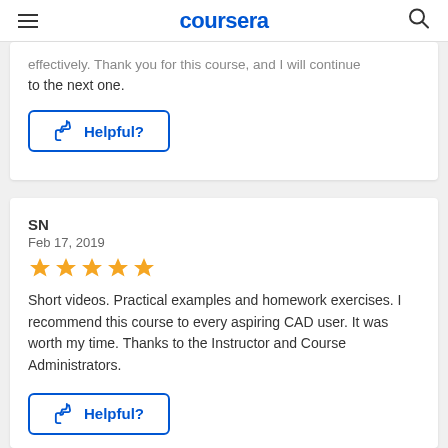coursera
...to the next one.
Helpful?
SN
Feb 17, 2019
[Figure (other): 5 gold star rating]
Short videos. Practical examples and homework exercises. I recommend this course to every aspiring CAD user. It was worth my time. Thanks to the Instructor and Course Administrators.
Helpful?